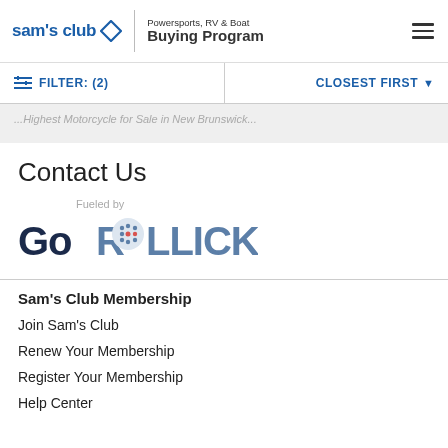Sam's Club | Powersports, RV & Boat Buying Program
FILTER: (2) | CLOSEST FIRST
...Highest Motorcycle for Sale in New Brunswick...
Contact Us
[Figure (logo): GoRollick logo with text 'Fueled by' above]
Sam's Club Membership
Join Sam's Club
Renew Your Membership
Register Your Membership
Help Center